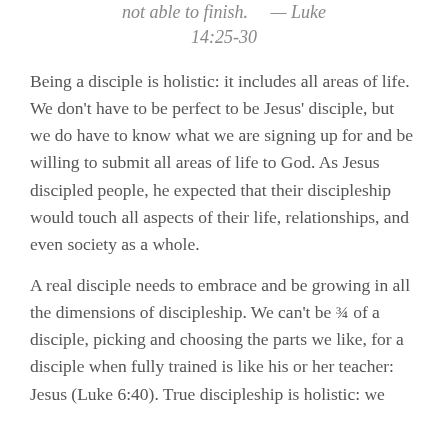not able to finish. — Luke 14:25-30
Being a disciple is holistic: it includes all areas of life. We don't have to be perfect to be Jesus' disciple, but we do have to know what we are signing up for and be willing to submit all areas of life to God. As Jesus discipled people, he expected that their discipleship would touch all aspects of their life, relationships, and even society as a whole.
A real disciple needs to embrace and be growing in all the dimensions of discipleship. We can't be ¾ of a disciple, picking and choosing the parts we like, for a disciple when fully trained is like his or her teacher: Jesus (Luke 6:40). True discipleship is holistic: we